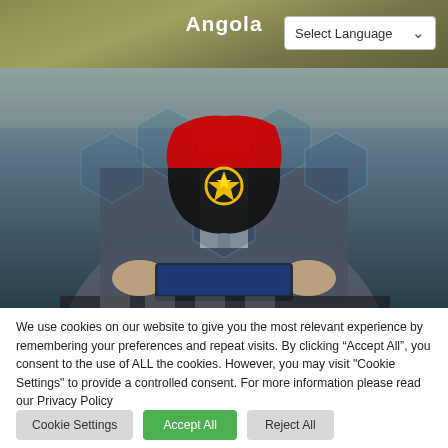Angola
[Figure (screenshot): Website header showing 'Angola' title with a 'Select Language' dropdown on the right, olive/khaki background]
[Figure (photo): Hero image showing a person in a suit holding a tablet with digital hexagon overlays and Angola flag/map graphic superimposed in the center]
We use cookies on our website to give you the most relevant experience by remembering your preferences and repeat visits. By clicking “Accept All”, you consent to the use of ALL the cookies. However, you may visit "Cookie Settings" to provide a controlled consent. For more information please read our Privacy Policy